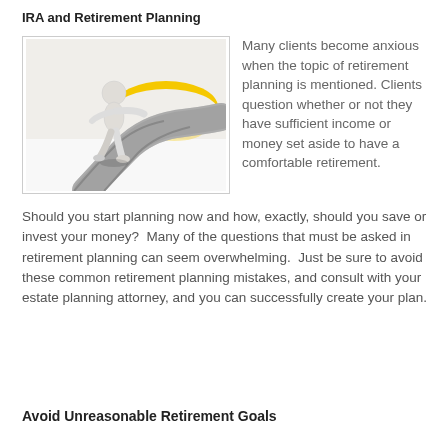IRA and Retirement Planning
[Figure (illustration): A white faceless 3D figure walking along a winding gray road toward a yellow sunrise on the horizon]
Many clients become anxious when the topic of retirement planning is mentioned. Clients question whether or not they have sufficient income or money set aside to have a comfortable retirement. Should you start planning now and how, exactly, should you save or invest your money? Many of the questions that must be asked in retirement planning can seem overwhelming. Just be sure to avoid these common retirement planning mistakes, and consult with your estate planning attorney, and you can successfully create your plan.
Avoid Unreasonable Retirement Goals